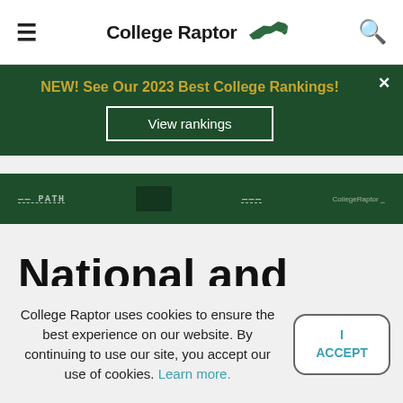CollegeRaptor
[Figure (screenshot): Green banner advertisement: NEW! See Our 2023 Best College Rankings! View rankings button. Below is a dark green sub-banner with text and CollegeRaptor logo.]
National and State
College Raptor uses cookies to ensure the best experience on our website. By continuing to use our site, you accept our use of cookies. Learn more.